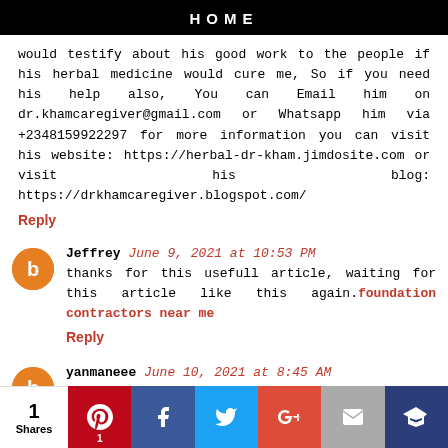HOME
would testify about his good work to the people if his herbal medicine would cure me, So if you need his help also, You can Email him on dr.khamcaregiver@gmail.com or Whatsapp him via +2348159922297 for more information you can visit his website: https://herbal-dr-kham.jimdosite.com or visit his blog: https://drkhamcaregiver.blogspot.com/
Reply
Jeffrey June 9, 2021 at 10:53 PM
thanks for this usefull article, waiting for this article like this again. foundation contractors near me
Reply
yanmaneee June 10, 2021 at 8:45 AM